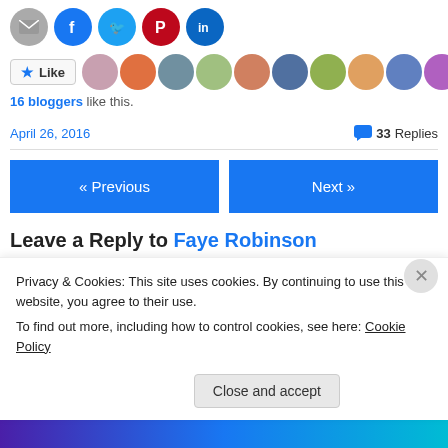[Figure (other): Social share icons: email (grey), Facebook (blue), Twitter (cyan), Pinterest (red), LinkedIn (blue)]
[Figure (other): Like button with star icon and a strip of 16 blogger avatar thumbnails]
16 bloggers like this.
April 26, 2016    💬 33 Replies
[Figure (other): Navigation buttons: « Previous and Next »]
Leave a Reply to Faye Robinson
Privacy & Cookies: This site uses cookies. By continuing to use this website, you agree to their use.
To find out more, including how to control cookies, see here: Cookie Policy